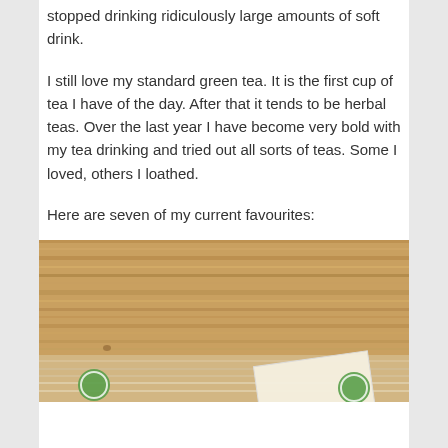stopped drinking ridiculously large amounts of soft drink.
I still love my standard green tea. It is the first cup of tea I have of the day. After that it tends to be herbal teas. Over the last year I have become very bold with my tea drinking and tried out all sorts of teas. Some I loved, others I loathed.
Here are seven of my current favourites:
[Figure (photo): Photo of a wooden surface (light pine wood grain) with what appears to be tea-related items at the bottom including circular green logos and a paper slip or tea packet in the lower right.]